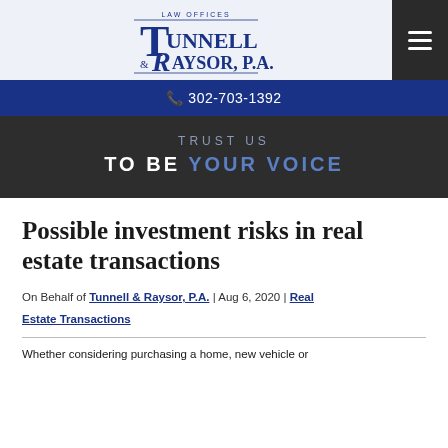[Figure (logo): Tunnell & Raysor P.A. law firm logo with T and R monograms]
302-703-1392
TRUST US TO BE YOUR VOICE
Possible investment risks in real estate transactions
On Behalf of Tunnell & Raysor, P.A. | Aug 6, 2020 | Real Estate Transactions
Whether considering purchasing a home, new vehicle or